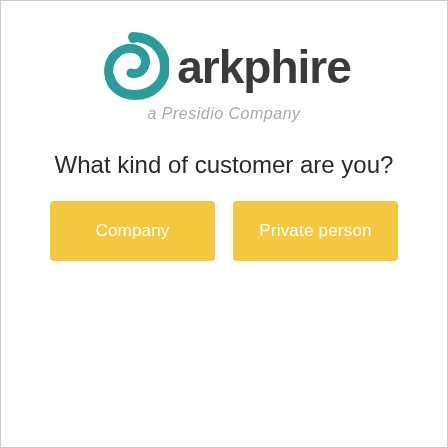[Figure (logo): Arkphire logo: a teal spiral/swirl icon on the left, followed by the text 'arkphire' in dark bold font, and below it 'a Presidio Company' in italic gray text]
What kind of customer are you?
Company
Private person